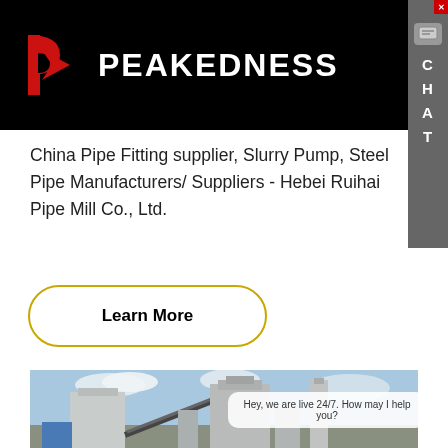PEAKEDNESS
China Pipe Fitting supplier, Slurry Pump, Steel Pipe Manufacturers/ Suppliers - Hebei Ruihai Pipe Mill Co., Ltd.
Learn More
[Figure (photo): Industrial facility showing a concrete/asphalt mixing plant with silos, conveyor belts, and large towers against a partly cloudy sky]
Hey, we are live 24/7. How may I help you?